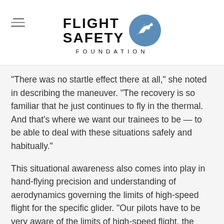[Figure (logo): Flight Safety Foundation logo with circular blue icon containing a white airplane silhouette and arrow, with bold text FLIGHT SAFETY and spaced FOUNDATION text below]
“There was no startle effect there at all,” she noted in describing the maneuver. “The recovery is so familiar that he just continues to fly in the thermal. And that’s where we want our trainees to be — to be able to deal with these situations safely and habitually.”
This situational awareness also comes into play in hand-flying precision and understanding of aerodynamics governing the limits of high-speed flight for the specific glider. “Our pilots have to be very aware of the limits of high-speed flight, the relevance of maneuvering speed, the limits of never-exceed speed and also the appropriate control inputs at high speed, as opposed to the low-speed